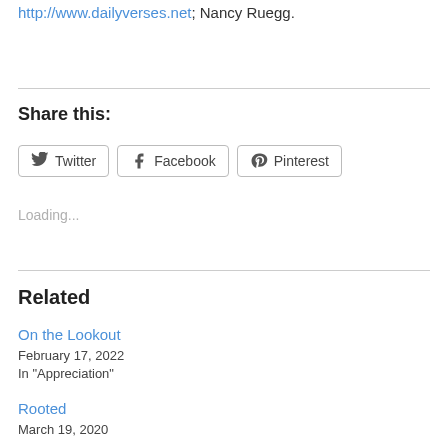http://www.dailyverses.net; Nancy Ruegg.
Share this:
[Figure (other): Social share buttons: Twitter, Facebook, Pinterest]
Loading...
Related
On the Lookout
February 17, 2022
In "Appreciation"
Rooted
March 19, 2020